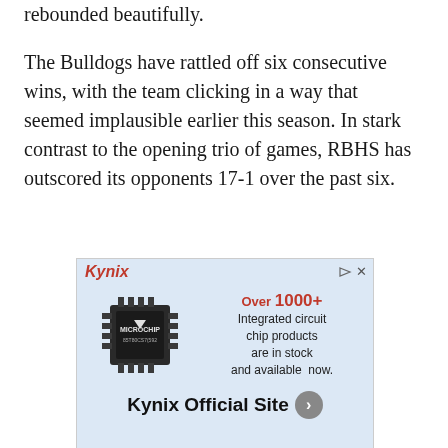rebounded beautifully.
The Bulldogs have rattled off six consecutive wins, with the team clicking in a way that seemed implausible earlier this season. In stark contrast to the opening trio of games, RBHS has outscored its opponents 17-1 over the past six.
[Figure (other): Kynix advertisement showing a microchip with text 'Over 1000+ Integrated circuit chip products are in stock and available now.' and 'Kynix Official Site']